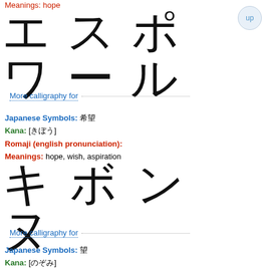Meanings: hope
[Figure (illustration): Japanese katakana calligraphy reading: エ ス ポ ワ ー ル (Esupowāru)]
More calligraphy for
Japanese Symbols: 希望
Kana: [きぼう]
Romaji (english pronunciation):
Meanings: hope, wish, aspiration
[Figure (illustration): Japanese katakana calligraphy reading: キ ボ ン ヌ (Kibonnu)]
More calligraphy for
Japanese Symbols: 望
Kana: [のぞみ]
Romaji (english pronunciation):
Meanings: desire, hope